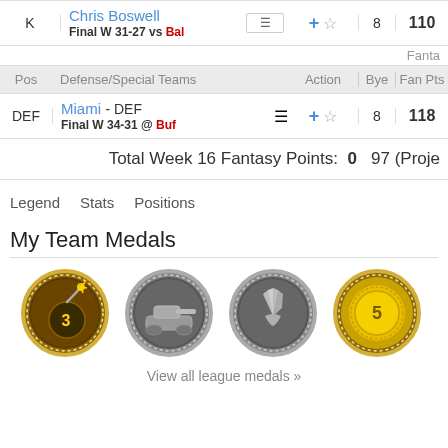| Pos | Player | Action | Bye | Fan Pts |
| --- | --- | --- | --- | --- |
| K | Chris Boswell / Final W 31-27 vs Bal |  | 8 | 110 |
| DEF | Miami - DEF / Final W 34-31 @ Buf |  | 8 | 118 |
Total Week 16 Fantasy Points: 0  97 (Proje...
Legend   Stats   Positions
My Team Medals
[Figure (illustration): Four medal icons: bronze bomb medal (#3), silver tank medal, silver prayer hands medal, gold ribbon medal (#5)]
View all league medals »